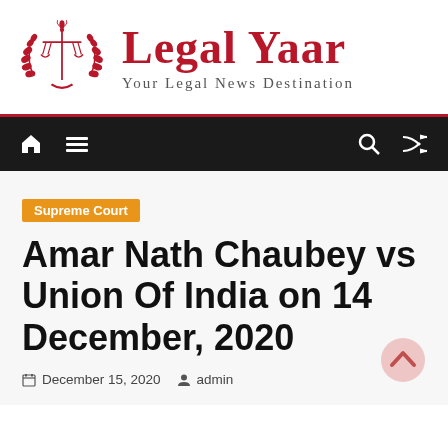[Figure (logo): Legal Yaar logo with scales of justice in red and laurel wreath, with site name 'Legal Yaar' and tagline 'Your Legal News Destination']
[Figure (screenshot): Dark navigation bar with home icon, hamburger menu, search icon, and shuffle/random icon]
Supreme Court
Amar Nath Chaubey vs Union Of India on 14 December, 2020
December 15, 2020   admin